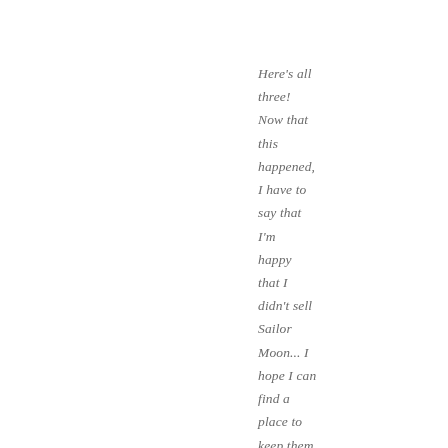Here's all three! Now that this happened, I have to say that I'm happy that I didn't sell Sailor Moon... I hope I can find a place to keep them displayed together.